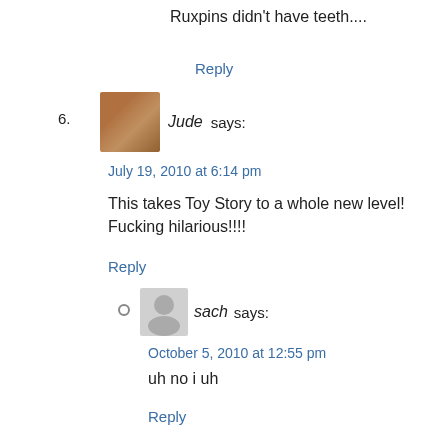Ruxpins didn't have teeth....
Reply
6. Jude says:
July 19, 2010 at 6:14 pm
This takes Toy Story to a whole new level! Fucking hilarious!!!!
Reply
sach says:
October 5, 2010 at 12:55 pm
uh no i uh
Reply
7. Gloria says:
July 19, 2010 at 6:16 pm
Please tell me every word of this is true.
Reply